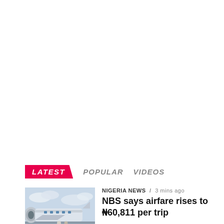LATEST  POPULAR  VIDEOS
NIGERIA NEWS / 3 mins ago
NBS says airfare rises to N60,811 per trip
[Figure (photo): Photo of people at an airport tarmac with an airplane engine visible in the background]